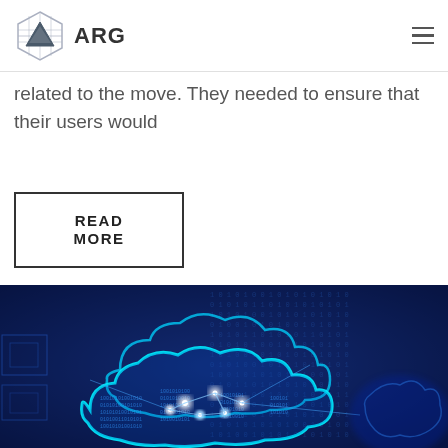ARG
related to the move. They needed to ensure that their users would
READ MORE
[Figure (illustration): Blue digital cloud computing illustration with glowing cloud shapes, binary data streams, and network connection lines on a deep blue background]